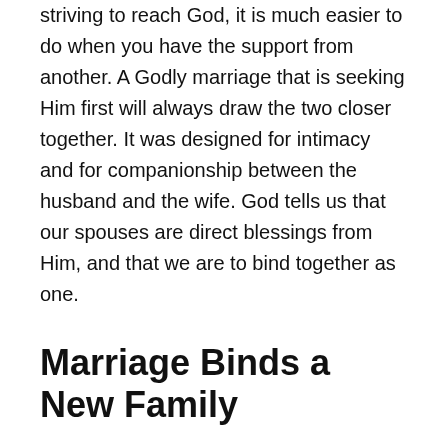striving to reach God, it is much easier to do when you have the support from another. A Godly marriage that is seeking Him first will always draw the two closer together. It was designed for intimacy and for companionship between the husband and the wife. God tells us that our spouses are direct blessings from Him, and that we are to bind together as one.
Marriage Binds a New Family
Genesis 2:24 – Therefore a man shall leave his father and his mother and hold fast to his wife, and they shall become one flesh.